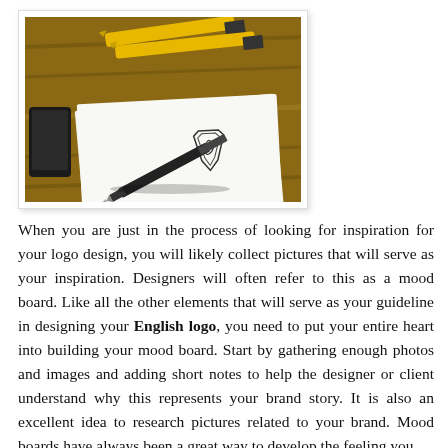[Figure (photo): A photo of a designer's desk with a pen sketching a logo on paper, with yellow pencils and a smartphone in the background on a wooden surface.]
When you are just in the process of looking for inspiration for your logo design, you will likely collect pictures that will serve as your inspiration. Designers will often refer to this as a mood board. Like all the other elements that will serve as your guideline in designing your English logo, you need to put your entire heart into building your mood board. Start by gathering enough photos and images and adding short notes to help the designer or client understand why this represents your brand story. It is also an excellent idea to research pictures related to your brand. Mood boards have always been a great way to develop the feeling you